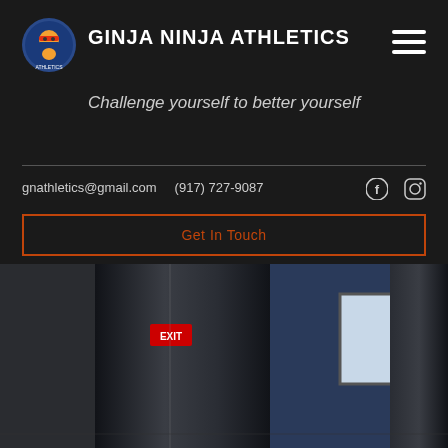[Figure (logo): Ginja Ninja Athletics circular logo with ninja mascot]
GINJA NINJA ATHLETICS
[Figure (other): Hamburger menu icon (three horizontal lines)]
Challenge yourself to better yourself
gnathletics@gmail.com   (917) 727-9087
[Figure (other): Facebook and Instagram social media icons]
Get In Touch
[Figure (photo): Dark interior gym photo showing large punching bags or cylindrical equipment with blue walls and exit sign in background]